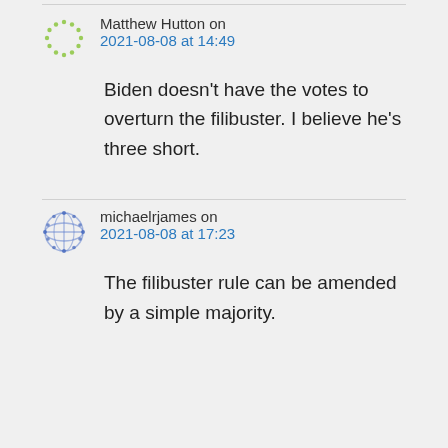Matthew Hutton on 2021-08-08 at 14:49
Biden doesn't have the votes to overturn the filibuster. I believe he's three short.
michaelrjames on 2021-08-08 at 17:23
The filibuster rule can be amended by a simple majority.